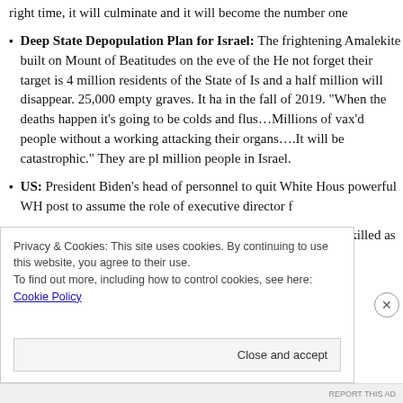right time, it will culminate and it will become the number one
Deep State Depopulation Plan for Israel: The frightening Amalekite built on Mount of Beatitudes on the eve of the Ho not forget their target is 4 million residents of the State of Is and a half million will disappear. 25,000 empty graves. It ha in the fall of 2019. “When the deaths happen it’s going to be colds and flus…Millions of vax’d people without a working attacking their organs….It will be catastrophic.” They are pl million people in Israel.
US: President Biden’s head of personnel to quit White Hous powerful WH post to assume the role of executive director f
Spain: Flash flooding kills one as Storm Barra batters Spain killed as severe flooding from Storm Barra submerged cars a
Privacy & Cookies: This site uses cookies. By continuing to use this website, you agree to their use.
To find out more, including how to control cookies, see here: Cookie Policy
Close and accept